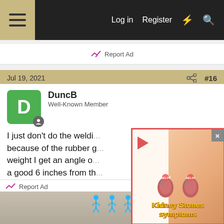≡  Log in  Register
Report Ad
Jul 19, 2021  #16
DuncB
Well-Known Member
I just don't do the welding because of the rubber g... weight I get an angle o... a good 6 inches from th... back either.
I wouldn't want to lose capacity on my Guten with a hole in the side of it either.
[Figure (screenshot): Advertisement overlay showing cartoon kidneys with HELP! signs and a person touching their back, text reads 'Kidney Stones symptoms']
Report Ad
[Figure (screenshot): Bottom advertisement banner with figures and text 'Hold and Move']